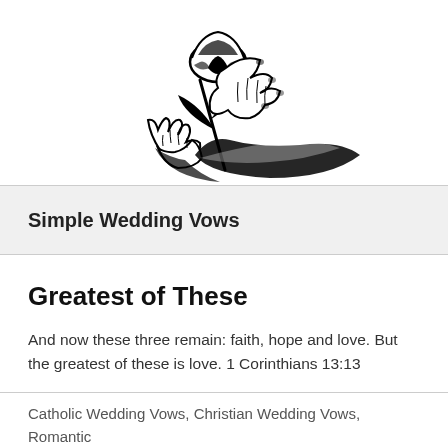[Figure (illustration): Black and white line illustration of hands holding a rose, with petals and leaves. The style is a bold ink drawing.]
Simple Wedding Vows
Greatest of These
And now these three remain: faith, hope and love. But the greatest of these is love. 1 Corinthians 13:13
Catholic Wedding Vows, Christian Wedding Vows, Romantic